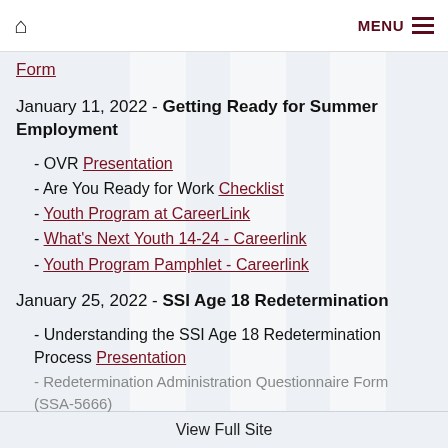Home | MENU
Form
January 11, 2022 - Getting Ready for Summer Employment
- OVR Presentation
- Are You Ready for Work Checklist
- Youth Program at CareerLink
- What's Next Youth 14-24 - Careerlink
- Youth Program Pamphlet - Careerlink
January 25, 2022 - SSI Age 18 Redetermination
- Understanding the SSI Age 18 Redetermination Process Presentation
- Redetermination Administration Questionnaire Form (SSA-5666)
View Full Site